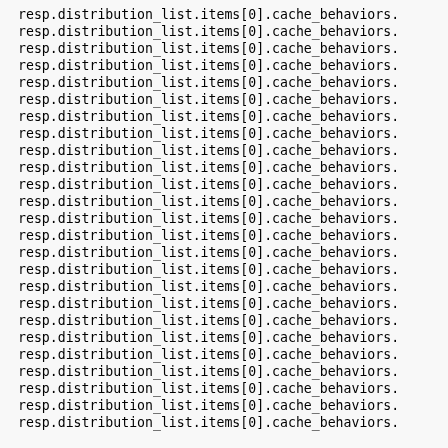resp.distribution_list.items[0].cache_behaviors.
resp.distribution_list.items[0].cache_behaviors.
resp.distribution_list.items[0].cache_behaviors.
resp.distribution_list.items[0].cache_behaviors.
resp.distribution_list.items[0].cache_behaviors.
resp.distribution_list.items[0].cache_behaviors.
resp.distribution_list.items[0].cache_behaviors.
resp.distribution_list.items[0].cache_behaviors.
resp.distribution_list.items[0].cache_behaviors.
resp.distribution_list.items[0].cache_behaviors.
resp.distribution_list.items[0].cache_behaviors.
resp.distribution_list.items[0].cache_behaviors.
resp.distribution_list.items[0].cache_behaviors.
resp.distribution_list.items[0].cache_behaviors.
resp.distribution_list.items[0].cache_behaviors.
resp.distribution_list.items[0].cache_behaviors.
resp.distribution_list.items[0].cache_behaviors.
resp.distribution_list.items[0].cache_behaviors.
resp.distribution_list.items[0].cache_behaviors.
resp.distribution_list.items[0].cache_behaviors.
resp.distribution_list.items[0].cache_behaviors.
resp.distribution_list.items[0].cache_behaviors.
resp.distribution_list.items[0].cache_behaviors.
resp.distribution_list.items[0].cache_behaviors.
resp.distribution_list.items[0].cache_behaviors.